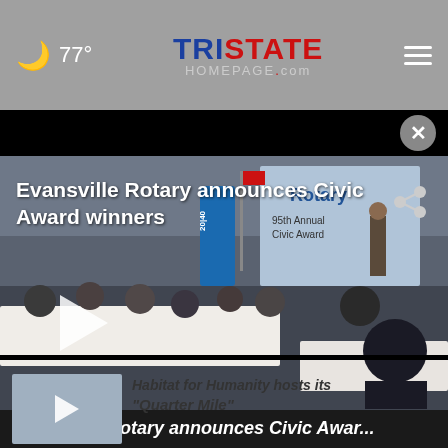77° — TristateHomepage.com
[Figure (screenshot): Video thumbnail showing Evansville Rotary Civic Award event with people seated at tables and a speaker at a podium; text overlay reads 'Evansville Rotary announces Civic Award winners']
Evansville Rotary announces Civic Awar...
[Figure (screenshot): Small video thumbnail for next story - hands on table]
Habitat for Humanity hosts its "Quarter Mile"